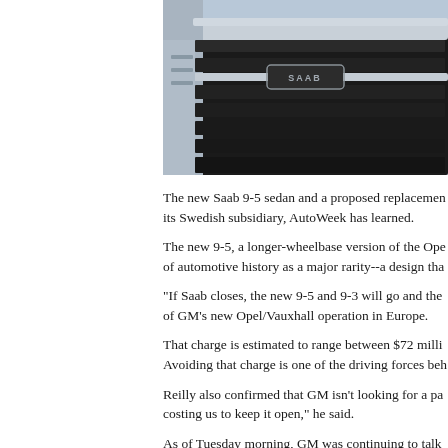[Figure (photo): Close-up photo of a Saab car front grille with the SAAB badge/logo visible, showing horizontal black grille bars and silver/chrome surround]
The new Saab 9-5 sedan and a proposed replacement for its Swedish subsidiary, AutoWeek has learned.
The new 9-5, a longer-wheelbase version of the Opel of automotive history as a major rarity--a design tha
"If Saab closes, the new 9-5 and 9-3 will go and the of GM's new Opel/Vauxhall operation in Europe.
That charge is estimated to range between $72 milli Avoiding that charge is one of the driving forces beh
Reilly also confirmed that GM isn't looking for a pa costing us to keep it open," he said.
As of Tuesday morning, GM was continuing to talk w Muller, plus a consortium of Luxembourg-based fina